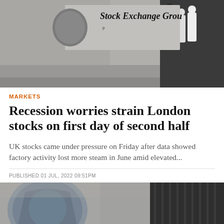[Figure (photo): Close-up of London Stock Exchange Group stone building facade with signage and people in background]
MARKETS
Recession worries strain London stocks on first day of second half
UK stocks came under pressure on Friday after data showed factory activity lost more steam in June amid elevated...
PUBLISHED 01 JUL, 2022 09:51PM
[Figure (photo): Close-up of London Stock Exchange building facade showing lion emblem and partial 'London' text in white lettering]